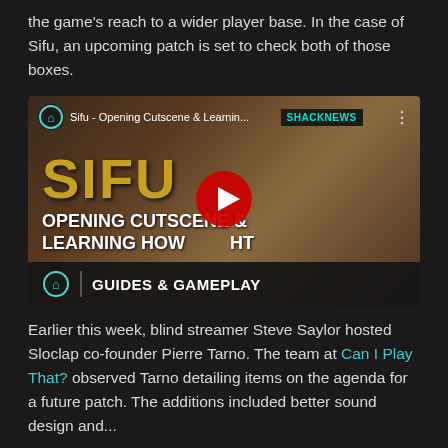the game's reach to a wider player base. In the case of Sifu, an upcoming patch is set to check both of those boxes.
[Figure (screenshot): YouTube video thumbnail for 'Sifu - Opening Cutscene & Learning...' showing the Sifu game logo, text 'OPENING CUTSCENE & LEARNING HOW TO FIGHT', a character in fighting stance, ShackNews branding, YouTube play button, and 'GUIDES & GAMEPLAY' bar at the bottom.]
Earlier this week, blind streamer Steve Saylor hosted Sloclap co-founder Pierre Tarno. The team at Can I Play That? observed Tarno detailing items on the agenda for a future patch. The additions included better sound design and...